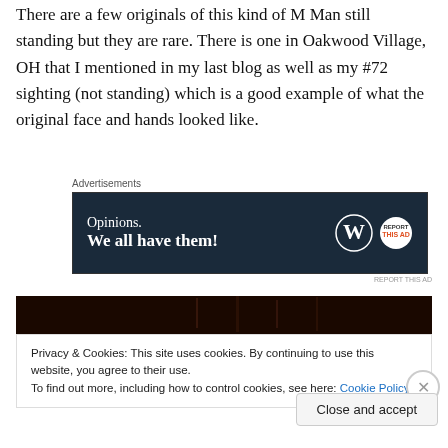There are a few originals of this kind of M Man still standing but they are rare. There is one in Oakwood Village, OH that I mentioned in my last blog as well as my #72 sighting (not standing) which is a good example of what the original face and hands looked like.
[Figure (screenshot): Advertisement banner with dark navy background reading 'Opinions. We all have them!' with WordPress and another logo on the right]
[Figure (photo): Dark image strip showing what appears to be a nighttime or dark outdoor scene]
Privacy & Cookies: This site uses cookies. By continuing to use this website, you agree to their use.
To find out more, including how to control cookies, see here: Cookie Policy
Close and accept